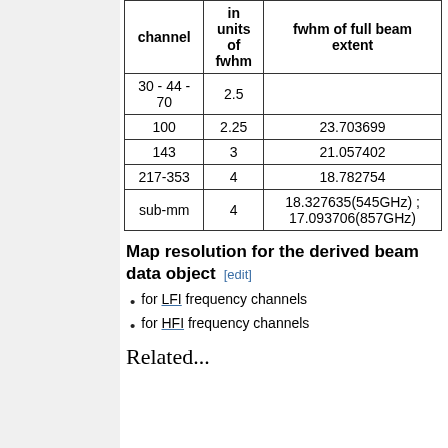| channel | in units of fwhm | fwhm of full beam extent |
| --- | --- | --- |
| 30 - 44 - 70 | 2.5 |  |
| 100 | 2.25 | 23.703699 |
| 143 | 3 | 21.057402 |
| 217-353 | 4 | 18.782754 |
| sub-mm | 4 | 18.327635(545GHz) ; 17.093706(857GHz) |
Map resolution for the derived beam data object [edit]
for LFI frequency channels
for HFI frequency channels
Related...